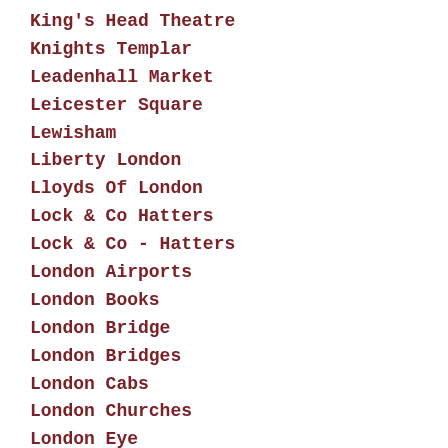King's Head Theatre
Knights Templar
Leadenhall Market
Leicester Square
Lewisham
Liberty London
Lloyds Of London
Lock & Co Hatters
Lock & Co - Hatters
London Airports
London Books
London Bridge
London Bridges
London Cabs
London Churches
London Eye
London For Visitors
London Galleries